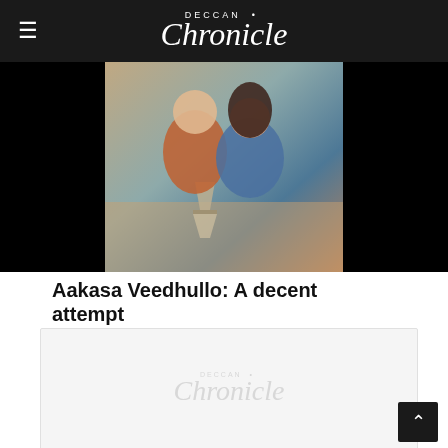Deccan Chronicle
[Figure (photo): Promotional still from the movie Aakasa Veedhullo showing a young couple seated together at a café table, with a hourglass on the table. The man wears an orange sweater and the woman wears a denim jacket. The image is framed by black letterbox bars on left and right.]
Aakasa Veedhullo: A decent attempt
[Figure (logo): Deccan Chronicle watermark/placeholder logo in light grey on white background.]